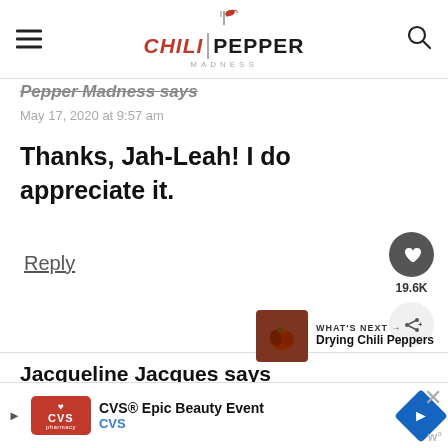[Figure (logo): Chili Pepper Madness logo with hamburger menu and search icon]
Pepper Madness says
May 17, 2020 at 9:57 am
Thanks, Jah-Leah! I do appreciate it.
Reply
19.6K
WHAT'S NEXT → Drying Chili Peppers
Jacqueline Jacques says
CVS® Epic Beauty Event CVS